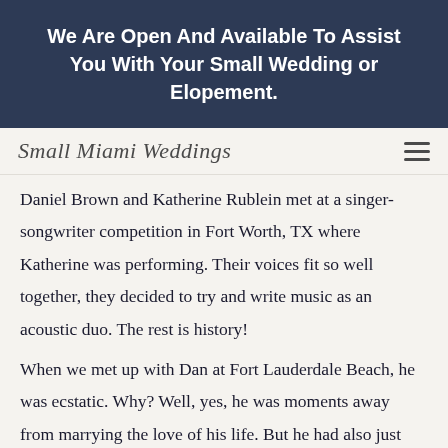We Are Open And Available To Assist You With Your Small Wedding or Elopement.
Small Miami Weddings
Daniel Brown and Katherine Rublein met at a singer-songwriter competition in Fort Worth, TX where Katherine was performing. Their voices fit so well together, they decided to try and write music as an acoustic duo. The rest is history!
When we met up with Dan at Fort Lauderdale Beach, he was ecstatic. Why? Well, yes, he was moments away from marrying the love of his life. But he had also just heard the incredible news: that their single, Abilene, was climbing the Country